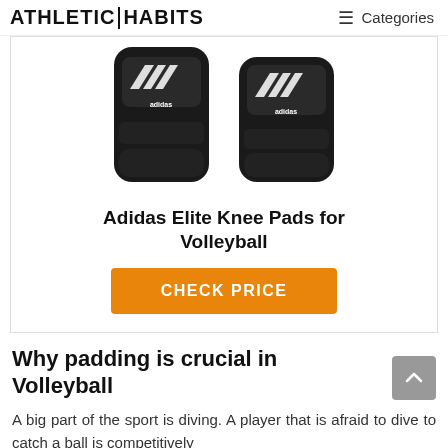ATHLETIC HABITS  ≡ Categories
[Figure (photo): Two black Adidas Elite knee pads shown side by side on a white background]
Adidas Elite Knee Pads for Volleyball
CHECK PRICE
Why padding is crucial in Volleyball
A big part of the sport is diving. A player that is afraid to dive to catch a ball is competitively